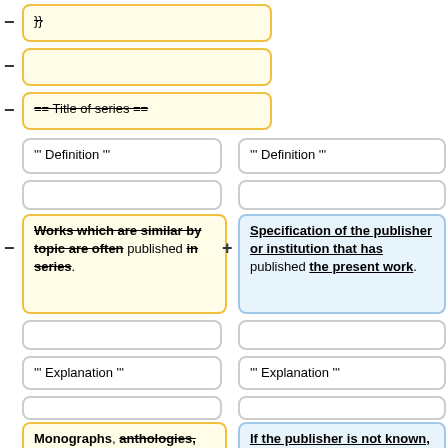}}
== Title of series ==
''' Definition '''
''' Definition '''
Works which are similar by topic are often published in series.
Specification of the publisher or institution that has published the present work.
''' Explanation '''
''' Explanation '''
Monographs, anthologies, proceedings and working papers often appear in series
If the publisher is not known, please fill in the name of the issuing institution. For ZHAW